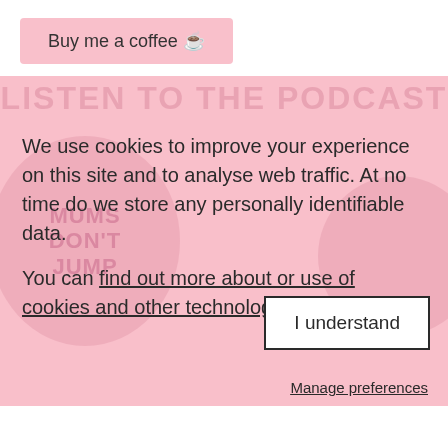Buy me a coffee ☕
We use cookies to improve your experience on this site and to analyse web traffic. At no time do we store any personally identifiable data.
You can find out more about or use of cookies and other technologies here.
I understand
Manage preferences